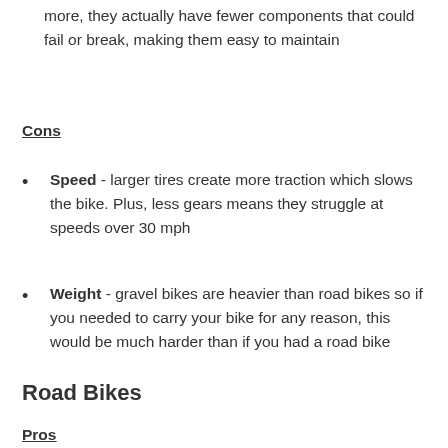more, they actually have fewer components that could fail or break, making them easy to maintain
Cons
Speed - larger tires create more traction which slows the bike. Plus, less gears means they struggle at speeds over 30 mph
Weight - gravel bikes are heavier than road bikes so if you needed to carry your bike for any reason, this would be much harder than if you had a road bike
Road Bikes
Pros